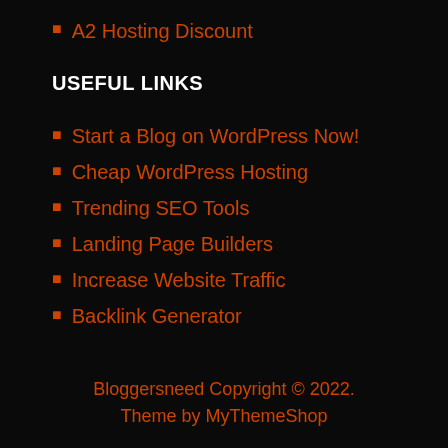A2 Hosting Discount
USEFUL LINKS
Start a Blog on WordPress Now!
Cheap WordPress Hosting
Trending SEO Tools
Landing Page Builders
Increase Website Traffic
Backlink Generator
Bloggersneed Copyright © 2022.
Theme by MyThemeShop